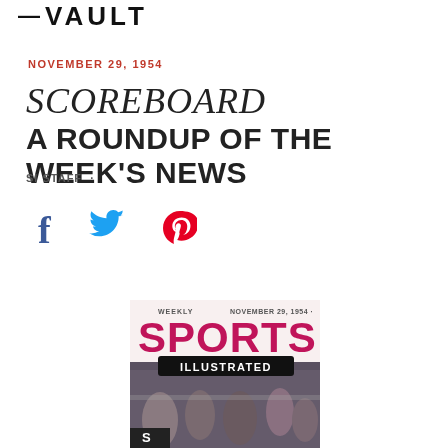— VAULT
NOVEMBER 29, 1954
SCOREBOARD
A ROUNDUP OF THE WEEK'S NEWS
SI STAFF ·
[Figure (illustration): Social media share icons: Facebook (f), Twitter (bird), Pinterest (P)]
[Figure (photo): Sports Illustrated magazine cover dated November 29, 1954, showing the Sports Illustrated logo with 'WEEKLY' and 'NOVEMBER 29, 1954' text, and a scene of people at what appears to be a sporting event.]